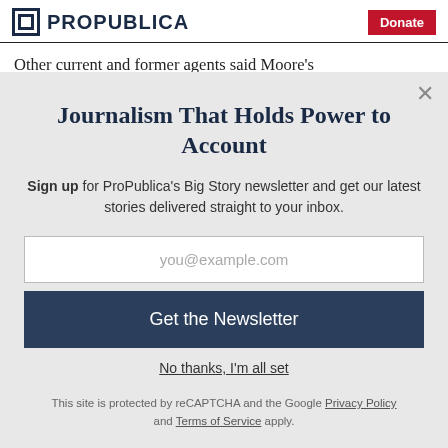ProPublica | Donate
Other current and former agents said Moore's
Journalism That Holds Power to Account
Sign up for ProPublica's Big Story newsletter and get our latest stories delivered straight to your inbox.
you@example.com
Get the Newsletter
No thanks, I'm all set
This site is protected by reCAPTCHA and the Google Privacy Policy and Terms of Service apply.